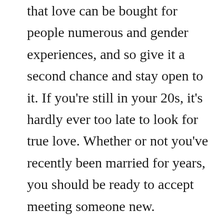that love can be bought for people numerous and gender experiences, and so give it a second chance and stay open to it. If you're still in your 20s, it's hardly ever too late to look for true love. Whether or not you've recently been married for years, you should be ready to accept meeting someone new.

Once you've attained the person you'd like to meet, remember that you should be open minded in order to construct a long-term romantic relationship. You should steer clear